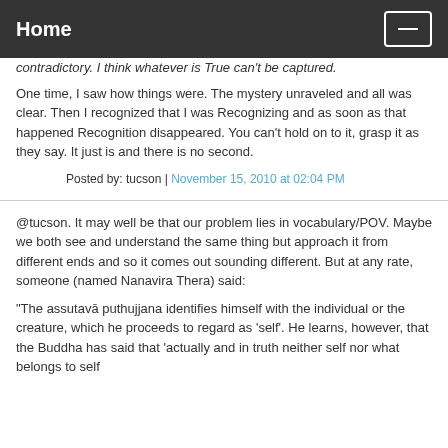Home
contradictory. I think whatever is True can't be captured.
One time, I saw how things were. The mystery unraveled and all was clear. Then I recognized that I was Recognizing and as soon as that happened Recognition disappeared. You can't hold on to it, grasp it as they say. It just is and there is no second.
Posted by: tucson | November 15, 2010 at 02:04 PM
@tucson. It may well be that our problem lies in vocabulary/POV. Maybe we both see and understand the same thing but approach it from different ends and so it comes out sounding different. But at any rate, someone (named Nanavira Thera) said:
"The assutavā puthujjana identifies himself with the individual or the creature, which he proceeds to regard as 'self'. He learns, however, that the Buddha has said that 'actually and in truth neither self nor what belongs to self